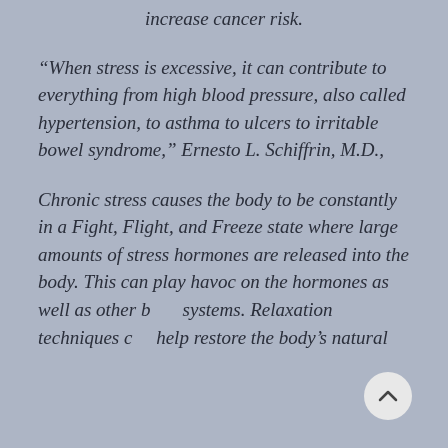increase cancer risk.
“When stress is excessive, it can contribute to everything from high blood pressure, also called hypertension, to asthma to ulcers to irritable bowel syndrome,” Ernesto L. Schiffrin, M.D.,
Chronic stress causes the body to be constantly in a Fight, Flight, and Freeze state where large amounts of stress hormones are released into the body. This can play havoc on the hormones as well as other body systems. Relaxation techniques can help restore the body’s natural